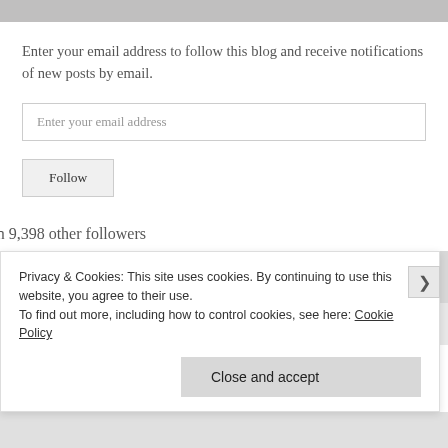Enter your email address to follow this blog and receive notifications of new posts by email.
Enter your email address
Follow
Join 9,398 other followers
CATEGORIES
Privacy & Cookies: This site uses cookies. By continuing to use this website, you agree to their use.
To find out more, including how to control cookies, see here: Cookie Policy
Close and accept